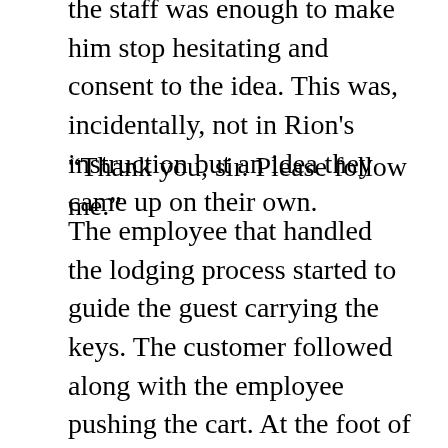the staff was enough to make him stop hesitating and consent to the idea. This was, incidentally, not in Rion's instruction but an idea they came up on their own.
“Thank you, sir. Please follow me.”
The employee that handled the lodging process started to guide the guest carrying the keys. The customer followed along with the employee pushing the cart. At the foot of the stairs, the keys were passed to the luggage clerk who carried them and the bags up the staircase. Not saying anything more, the customer simply followed. The other member of staff remained downstairs and bowed towards the guest’s back. She then returned to the reception desk with the empty cart.
Watching this scene made the corners of Rion’s eyes become damp. This manner of customer service was not something that could be established in a short time. They